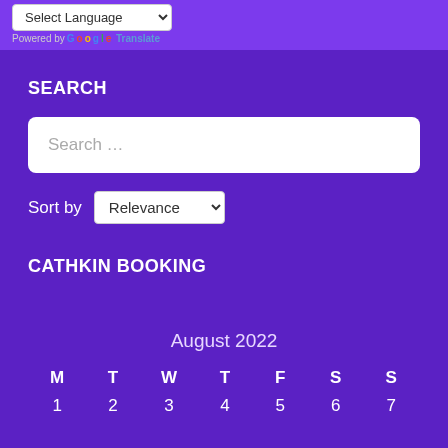[Figure (screenshot): Language selector dropdown showing 'Select Language' and 'Powered by Google Translate' text below]
SEARCH
Search …
Sort by Relevance
CATHKIN BOOKING
| M | T | W | T | F | S | S |
| --- | --- | --- | --- | --- | --- | --- |
| 1 | 2 | 3 | 4 | 5 | 6 | 7 |